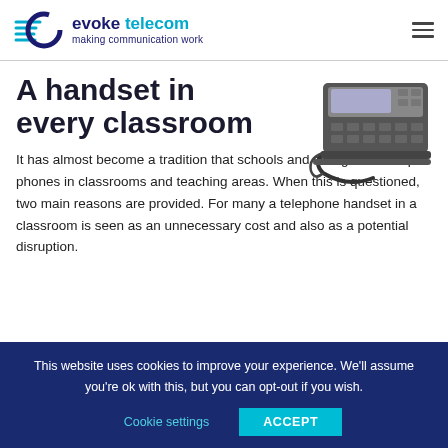evoke telecom — making communication work
A handset in every classroom
[Figure (photo): A dark grey desktop telephone handset with numeric keypad, display screen, and coiled cord, viewed from the front-right angle.]
It has almost become a tradition that schools and colleges do not put phones in classrooms and teaching areas. When this is questioned, two main reasons are provided. For many a telephone handset in a classroom is seen as an unnecessary cost and also as a potential disruption.
This website uses cookies to improve your experience. We'll assume you're ok with this, but you can opt-out if you wish.
Cookie settings    ACCEPT